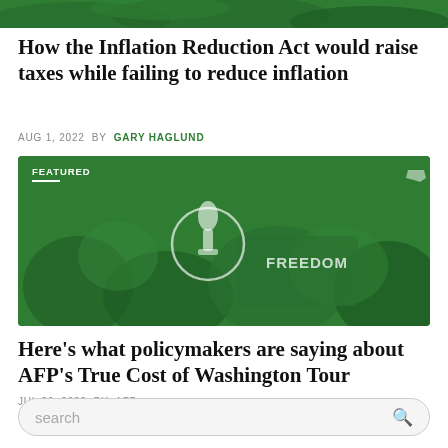[Figure (photo): Green tinted crowd photo banner at top of page]
How the Inflation Reduction Act would raise taxes while failing to reduce inflation
AUG 1, 2022 BY GARY HAGLUND
[Figure (photo): Featured banner image with green-tinted crowd photo showing people in green shirts with FREEDOM text and a torch logo. Label 'FEATURED' in top left corner with US map icon in top right.]
Here’s what policymakers are saying about AFP’s True Cost of Washington Tour
JUL 26, 2022 BY AFP
search